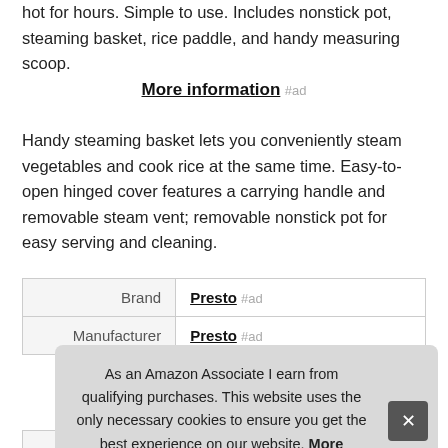hot for hours. Simple to use. Includes nonstick pot, steaming basket, rice paddle, and handy measuring scoop.
More information #ad
Handy steaming basket lets you conveniently steam vegetables and cook rice at the same time. Easy-to-open hinged cover features a carrying handle and removable steam vent; removable nonstick pot for easy serving and cleaning.
|  |  |
| --- | --- |
| Brand | Presto #ad |
| Manufacturer | Presto #ad |
| Width | 10.8 Inches |
As an Amazon Associate I earn from qualifying purchases. This website uses the only necessary cookies to ensure you get the best experience on our website. More information